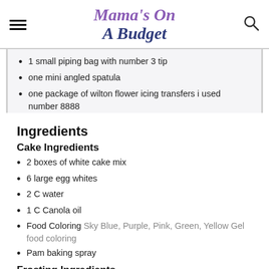Mama's On A Budget
1 small piping bag with number 3 tip
one mini angled spatula
one package of wilton flower icing transfers i used number 8888
Ingredients
Cake Ingredients
2 boxes of white cake mix
6 large egg whites
2 C water
1 C Canola oil
Food Coloring Sky Blue, Purple, Pink, Green, Yellow Gel food coloring
Pam baking spray
Frosting Ingredients
2 C unsalted butter softened